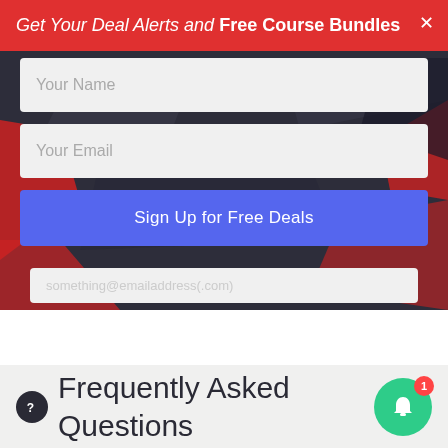Get Your Deal Alerts and Free Course Bundles ×
Your Name
Your Email
Sign Up for Free Deals
❷ Frequently Asked Questions